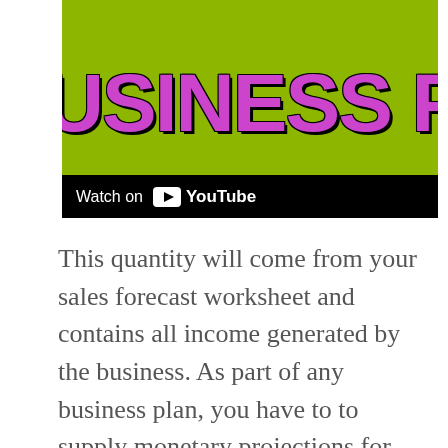[Figure (screenshot): YouTube video thumbnail showing 'BUSINESS PL' text in purple on olive/green background with 'Watch on YouTube' bar at bottom]
This quantity will come from your sales forecast worksheet and contains all income generated by the business. As part of any business plan, you have to to supply monetary projections for your enterprise. Embrace any related paperwork in the appendix of your small business plan, corresponding to lease agreements or supplier quotations. In case you're fascinated about establishing